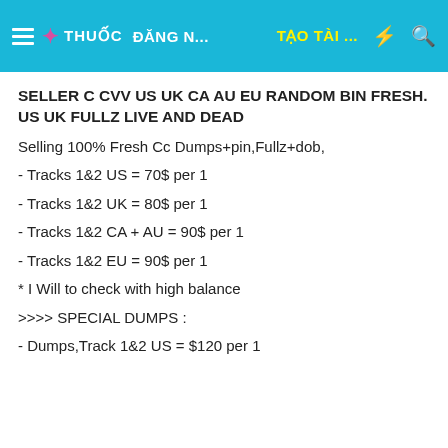☰ ✦ THUỐC  ĐĂNG N...  TẠO TÀI ...  ⚡  🔍
SELLER C CVV US UK CA AU EU RANDOM BIN FRESH. US UK FULLZ LIVE AND DEAD
Selling 100% Fresh Cc Dumps+pin,Fullz+dob,
- Tracks 1&2 US = 70$ per 1
- Tracks 1&2 UK = 80$ per 1
- Tracks 1&2 CA + AU = 90$ per 1
- Tracks 1&2 EU = 90$ per 1
* I Will to check with high balance
>>>> SPECIAL DUMPS :
- Dumps,Track 1&2 US = $120 per 1